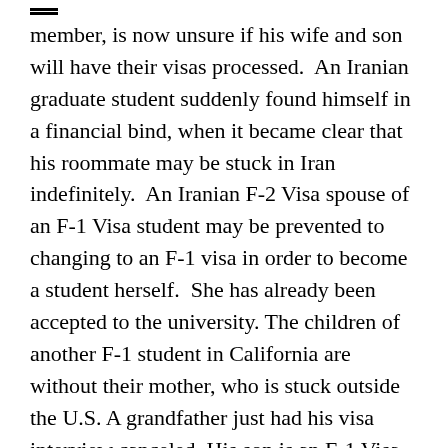member, is now unsure if his wife and son will have their visas processed.  An Iranian graduate student suddenly found himself in a financial bind, when it became clear that his roommate may be stuck in Iran indefinitely.  An Iranian F-2 Visa spouse of an F-1 Visa student may be prevented to changing to an F-1 visa in order to become a student herself.  She has already been accepted to the university. The children of another F-1 student in California are without their mother, who is stuck outside the U.S. A grandfather just had his visa interview canceled. His son is an F-1 Visa Ph.D. student with small children, who have not seen their grandfather in five years.  All of these examples (and many more) were collected from a single university, within only five hours of Trump signing the EO.[4] The “official numbers” recognize none of these people.
The Islamophobia that undergirds the EO and much